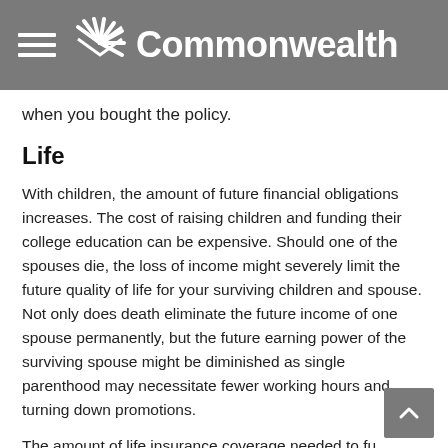Commonwealth
when you bought the policy.
Life
With children, the amount of future financial obligations increases. The cost of raising children and funding their college education can be expensive. Should one of the spouses die, the loss of income might severely limit the future quality of life for your surviving children and spouse. Not only does death eliminate the future income of one spouse permanently, but the future earning power of the surviving spouse might be diminished as single parenthood may necessitate fewer working hours and turning down promotions.
The amount of life insurance coverage needed to fund potential financial loss is predicated on, among other factors, life expectancy, current level of debts and savings,